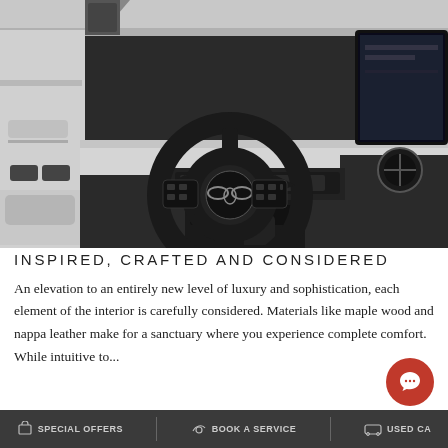[Figure (photo): Mazda car interior showing steering wheel with Mazda logo, dashboard, center console, and infotainment screen in dark and light color scheme]
INSPIRED, CRAFTED AND CONSIDERED
An elevation to an entirely new level of luxury and sophistication, each element of the interior is carefully considered. Materials like maple wood and nappa leather make for a sanctuary where you experience complete comfort. While intuitive technology lifts driving position
SPECIAL OFFERS   BOOK A SERVICE   USED C...